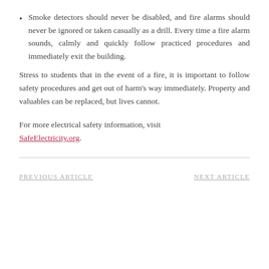Smoke detectors should never be disabled, and fire alarms should never be ignored or taken casually as a drill. Every time a fire alarm sounds, calmly and quickly follow practiced procedures and immediately exit the building.
Stress to students that in the event of a fire, it is important to follow safety procedures and get out of harm's way immediately. Property and valuables can be replaced, but lives cannot.
For more electrical safety information, visit SafeElectricity.org.
PREVIOUS ARTICLE   NEXT ARTICLE